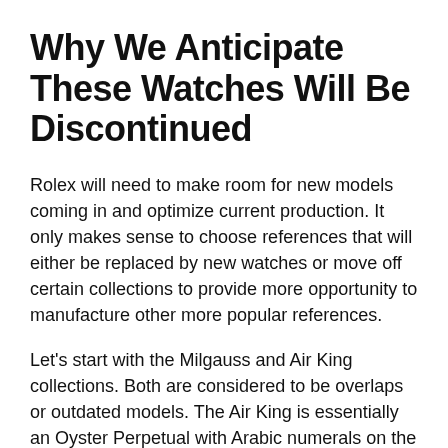Why We Anticipate These Watches Will Be Discontinued
Rolex will need to make room for new models coming in and optimize current production. It only makes sense to choose references that will either be replaced by new watches or move off certain collections to provide more opportunity to manufacture other more popular references.
Let's start with the Milgauss and Air King collections. Both are considered to be overlaps or outdated models. The Air King is essentially an Oyster Perpetual with Arabic numerals on the dial. Would it make more sense to use that production time improving output for other models? We say Rolex thinks yes. When it comes